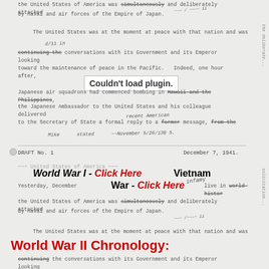the United States of America was simultaneously and deliberately attacked by naval and air forces of the Empire of Japan.
The United States was at the moment at peace with that nation and was still in conversations with its Government and its Emperor looking toward the maintenance of peace in the Pacific. Indeed, one hour after
Couldn't load plugin.
Japanese air squadrons had commenced bombing in Hawaii and the Philippines
the Japanese Ambassador to the United States and his colleague delivered
to the Secretary of State a formal reply to a recent American message, from the
DRAFT No. 1    December 7, 1941.
World War I - Click Here        Vietnam
War - Click Here
Yesterday, December [7] live in infamy
the United States of America was suddenly and deliberately attacked by naval and air forces of the Empire of Japan.
World War II Chronology:
continuing the conversations with its Government and its Emperor looking